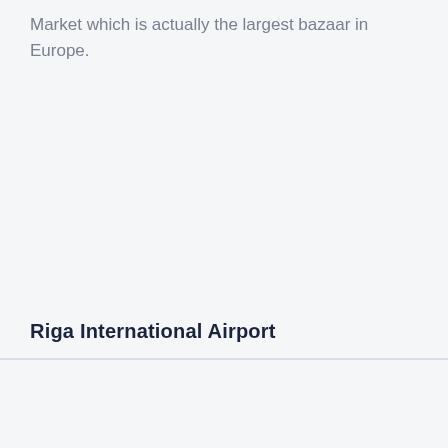Market which is actually the largest bazaar in Europe.
Riga International Airport